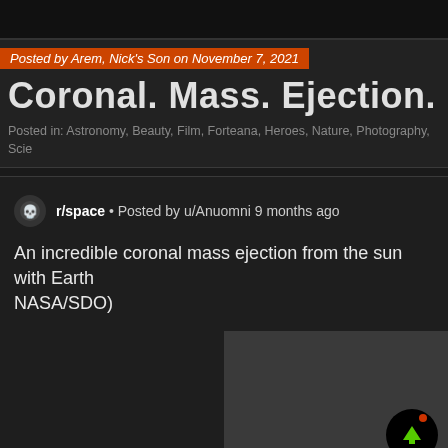Posted by Arem, Nick's Son on November 7, 2021
Coronal. Mass. Ejection.
Posted in: Astronomy, Beauty, Film, Forteana, Heroes, Nature, Photography, Scie...
r/space • Posted by u/Anuomni 9 months ago
An incredible coronal mass ejection from the sun with Earth... NASA/SDO)
[Figure (screenshot): Dark gray image area showing a coronal mass ejection, with a black circular upvote button in the lower right containing a green upward arrow and a small red notification dot]